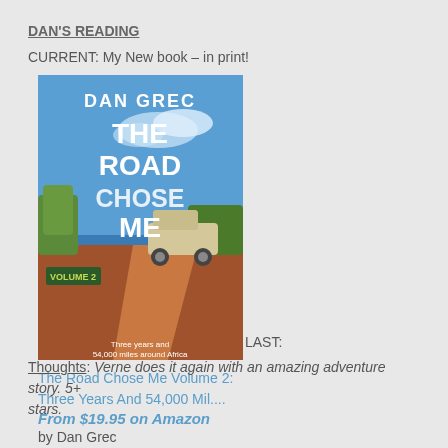DAN'S READING
CURRENT: My New book – in print!
[Figure (illustration): Book cover of 'The Road Chose Me Volume 2' by Dan Grec, showing a 4WD vehicle on a red dirt road in Africa with blue sky background. Text on cover: DAN GREC / THE ROAD CHOSE ME / Three years and 54,000 miles around Africa]
The Road Chose Me Volume 2: Three Years And 54,000 Mil....
From $19.95 on Amazon
by Dan Grec
LAST:
Thoughts: Verne does it again with an amazing adventure story. 5+ stars.